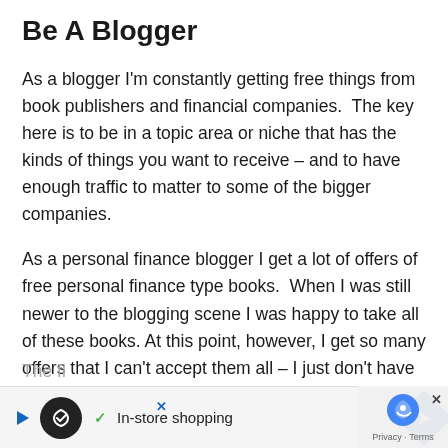Be A Blogger
As a blogger I'm constantly getting free things from book publishers and financial companies.  The key here is to be in a topic area or niche that has the kinds of things you want to receive – and to have enough traffic to matter to some of the bigger companies.
As a personal finance blogger I get a lot of offers of free personal finance type books.  When I was still newer to the blogging scene I was happy to take all of these books. At this point, however, I get so many offers that I can't accept them all – I just don't have the time to read that many books!